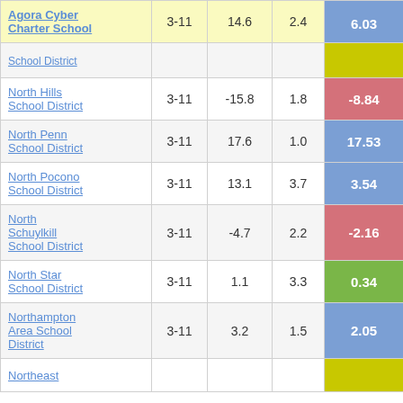| School/District | Grades | Col3 | Col4 | Score |
| --- | --- | --- | --- | --- |
| Agora Cyber Charter School | 3-11 | 14.6 | 2.4 | 6.03 |
| School District |  |  |  |  |
| North Hills School District | 3-11 | -15.8 | 1.8 | -8.84 |
| North Penn School District | 3-11 | 17.6 | 1.0 | 17.53 |
| North Pocono School District | 3-11 | 13.1 | 3.7 | 3.54 |
| North Schuylkill School District | 3-11 | -4.7 | 2.2 | -2.16 |
| North Star School District | 3-11 | 1.1 | 3.3 | 0.34 |
| Northampton Area School District | 3-11 | 3.2 | 1.5 | 2.05 |
| Northeast |  |  |  |  |